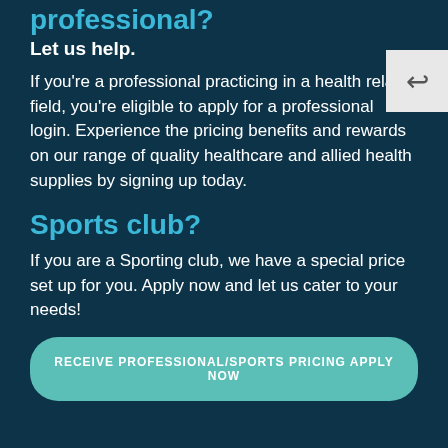professional?
Let us help.
If you're a professional practicing in a health related field, you're eligible to apply for a professional login. Experience the pricing benefits and rewards on our range of quality healthcare and allied health supplies by signing up today.
Sports club?
If you are a Sporting club, we have a special price set up for you. Apply now and let us cater to your needs!
RECEIVE PROFESSIONAL/SPORTS PRICING APPLY NOW